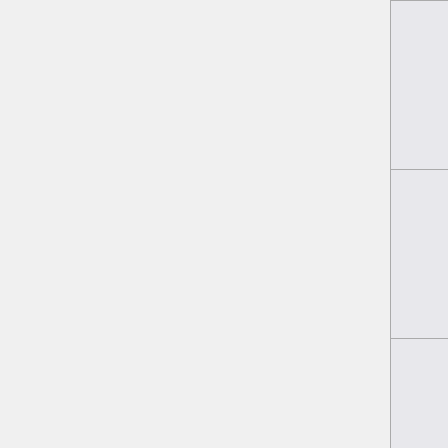| Package | Version (current) | Version (latest) | Status |
| --- | --- | --- | --- |
| libidl-win32 | 0.6.3 | 0.8.6 | Up-to-date |
| gecko | 1.7.5 | 1.8b1 | Up-to-date |
| gecko-win32 | 1.8b1 | 1.8b1 | Up-to-date |
| twolame | 0.3.8 | 0.3.8 | Up-to-date |
| libjpeg | 6b | 6b | Up-to-date |
| libtiff | 3.8.2 | 3.8.2 | Up-to-date |
| SDL | 1.2.11 | 1.2.11 | Up-to-date |
| SDL_image | 1.2.5 | 1.2.5 | Up-to-date |